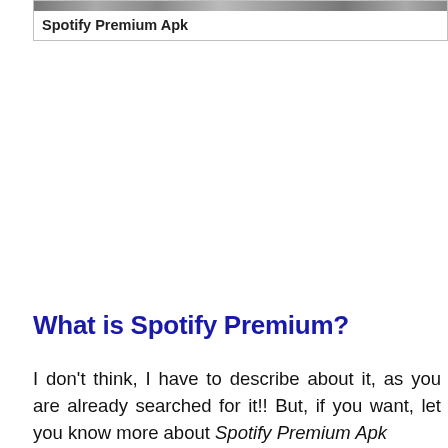Spotify Premium Apk
What is Spotify Premium?
I don't think, I have to describe about it, as you are already searched for it!! But, if you want, let you know more about Spotify Premium Apk